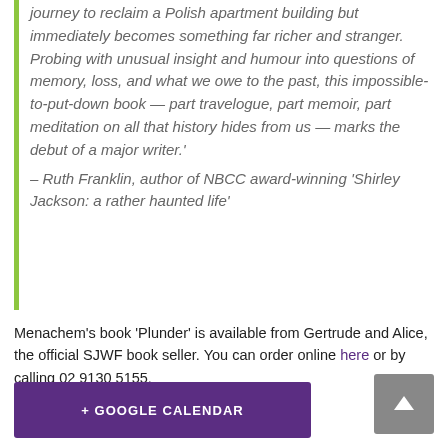journey to reclaim a Polish apartment building but immediately becomes something far richer and stranger. Probing with unusual insight and humour into questions of memory, loss, and what we owe to the past, this impossible-to-put-down book — part travelogue, part memoir, part meditation on all that history hides from us — marks the debut of a major writer.'
– Ruth Franklin, author of NBCC award-winning 'Shirley Jackson: a rather haunted life'
Menachem's book 'Plunder' is available from Gertrude and Alice, the official SJWF book seller. You can order online here or by calling 02 9130 5155.